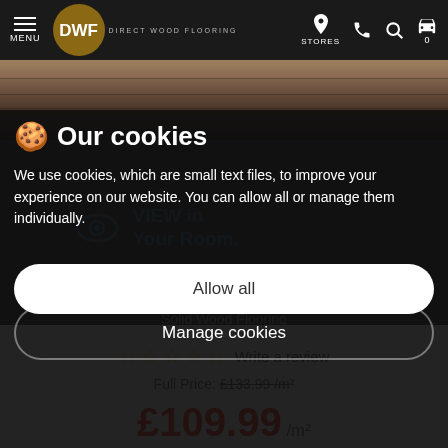DWF Direct Wood Flooring — navigation bar with MENU, logo, STORES, phone, search, cart icons
[Figure (screenshot): Wood flooring planks in grey/brown tones visible behind cookie overlay]
VIEW in Your Room.
DELUXE SILK GREY OAK
Brushed & Oiled
Solid Wood Flooring
Our cookies
We use cookies, which are small text files, to improve your experience on our website. You can allow all or manage them individually.
Allow all
Manage cookies
☆☆☆☆☆  Write a review
Full Price: £133.99 /m²
£109.99 /m²